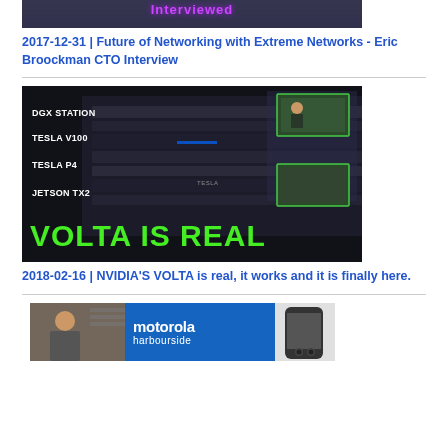[Figure (screenshot): Article thumbnail showing 'Interviewed' text overlay on a dark background image]
2017-12-31 | Future of Networking with Extreme Networks - Eric Broockman CTO Interview
[Figure (screenshot): NVIDIA VOLTA IS REAL promotional image showing DGX Station, Tesla V100, Tesla P4, Jetson TX2 products with green text 'VOLTA IS REAL']
2018-02-16 | NVIDIA'S VOLTA is real, it works and it is finally here.
[Figure (screenshot): Motorola harbourside promotional image with person on left, blue Motorola harbourside branding in middle, and phone on right]